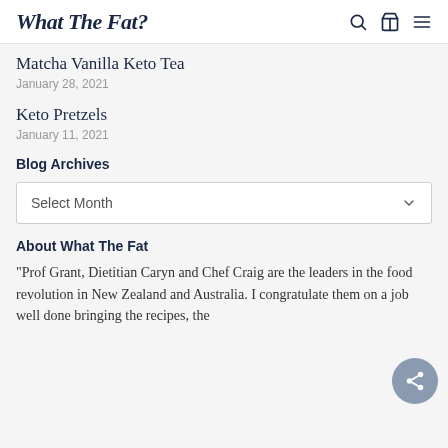What The Fat?
Matcha Vanilla Keto Tea
January 28, 2021
Keto Pretzels
January 11, 2021
Blog Archives
Select Month
About What The Fat
“Prof Grant, Dietitian Caryn and Chef Craig are the leaders in the food revolution in New Zealand and Australia. I congratulate them on a job well done bringing the recipes, the